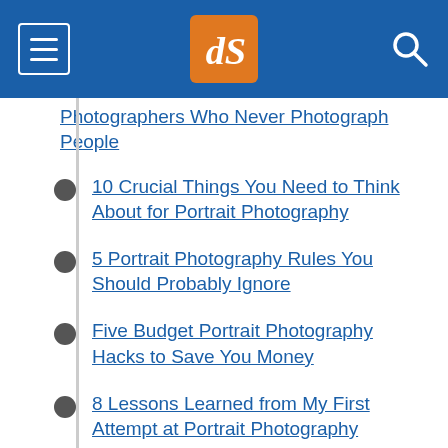dPS (Digital Photography School) navigation header
Photographers Who Never Photograph People (partial, cut off at top)
10 Crucial Things You Need to Think About for Portrait Photography
5 Portrait Photography Rules You Should Probably Ignore
Five Budget Portrait Photography Hacks to Save You Money
8 Lessons Learned from My First Attempt at Portrait Photography
How Self-Portraiture Makes You a Better (cut off)